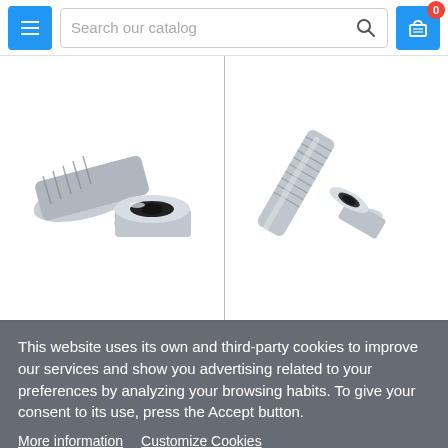Search our catalog (search bar with menu and cart icons)
[Figure (photo): Two stainless steel socket cap screws / hex bolts photographed on white background, displayed side by side]
This website uses its own and third-party cookies to improve our services and show you advertising related to your preferences by analyzing your browsing habits. To give your consent to its use, press the Accept button.
More information   Customize Cookies
REJECT ALL
Leave a message